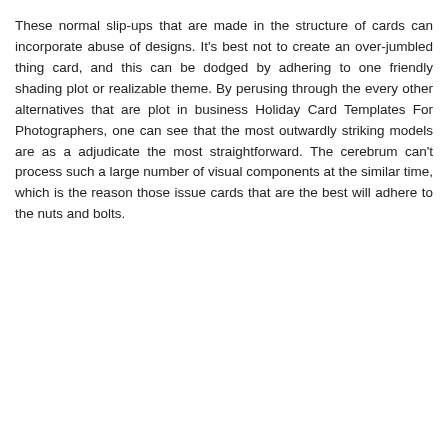These normal slip-ups that are made in the structure of cards can incorporate abuse of designs. It's best not to create an over-jumbled thing card, and this can be dodged by adhering to one friendly shading plot or realizable theme. By perusing through the every other alternatives that are plot in business Holiday Card Templates For Photographers, one can see that the most outwardly striking models are as a adjudicate the most straightforward. The cerebrum can't process such a large number of visual components at the similar time, which is the reason those issue cards that are the best will adhere to the nuts and bolts.